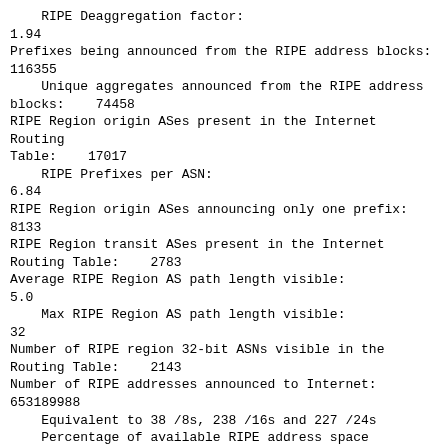RIPE Deaggregation factor:
1.94
Prefixes being announced from the RIPE address blocks:
116355
    Unique aggregates announced from the RIPE address
blocks:    74458
RIPE Region origin ASes present in the Internet Routing
Table:    17017
    RIPE Prefixes per ASN:
6.84
RIPE Region origin ASes announcing only one prefix:
8133
RIPE Region transit ASes present in the Internet
Routing Table:    2783
Average RIPE Region AS path length visible:
5.0
    Max RIPE Region AS path length visible:
32
Number of RIPE region 32-bit ASNs visible in the
Routing Table:    2143
Number of RIPE addresses announced to Internet:
653189988
    Equivalent to 38 /8s, 238 /16s and 227 /24s
    Percentage of available RIPE address space
announced:        95.0

RIPE AS Blocks          1877-1901, 2043, 2047, 2107-
2136, 2585-2614
(pre-ERX allocations)  2773-2822, 2830-2879, 3154-3353,
5377-5631